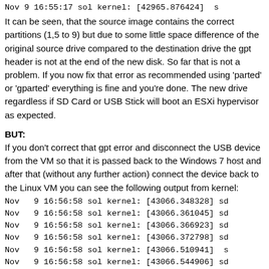Nov  9 16:55:17 sol kernel: [42965.876424]  s
It can be seen, that the source image contains the correct partitions (1,5 to 9) but due to some little space difference of the original source drive compared to the destination drive the gpt header is not at the end of the new disk. So far that is not a problem. If you now fix that error as recommended using 'parted' or 'gparted' everything is fine and you're done. The new drive regardless if SD Card or USB Stick will boot an ESXi hypervisor as expected.
BUT:
If you don't correct that gpt error and disconnect the USB device from the VM so that it is passed back to the Windows 7 host and after that (without any further action) connect the device back to the Linux VM you can see the following output from kernel:
Nov  9 16:56:58 sol kernel: [43066.348328] sd
Nov  9 16:56:58 sol kernel: [43066.361045] sd
Nov  9 16:56:58 sol kernel: [43066.366923] sd
Nov  9 16:56:58 sol kernel: [43066.372798] sd
Nov  9 16:56:58 sol kernel: [43066.510941]  s
Nov  9 16:56:58 sol kernel: [43066.544906] sd
The gpt table now contains partitions (1 to 6) and with that you will not be able to boot an ESXi hypervisor. You will get the well known error at startup about...